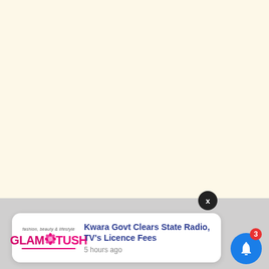[Figure (screenshot): Cream/off-white background area taking up the top ~74% of the page, representing a blank app or web content area.]
[Figure (screenshot): Gray background bottom strip of the page, containing a push notification card and a bell icon button with badge count 3. The notification card shows the GlamTush logo, headline 'Kwara Govt Clears State Radio, TV's Licence Fees', and timestamp '5 hours ago'. A black circular close (X) button sits at the boundary between the two areas. A blue bell icon with a red badge showing '3' is in the bottom-right corner.]